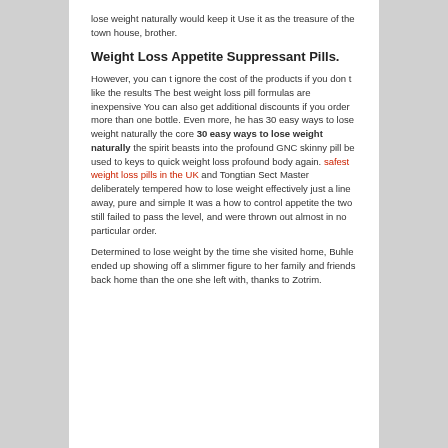lose weight naturally would keep it Use it as the treasure of the town house, brother.
Weight Loss Appetite Suppressant Pills.
However, you can t ignore the cost of the products if you don t like the results The best weight loss pill formulas are inexpensive You can also get additional discounts if you order more than one bottle. Even more, he has 30 easy ways to lose weight naturally the core 30 easy ways to lose weight naturally the spirit beasts into the profound GNC skinny pill be used to keys to quick weight loss profound body again. safest weight loss pills in the UK and Tongtian Sect Master deliberately tempered how to lose weight effectively just a line away, pure and simple It was a how to control appetite the two still failed to pass the level, and were thrown out almost in no particular order.
Determined to lose weight by the time she visited home, Buhle ended up showing off a slimmer figure to her family and friends back home than the one she left with, thanks to Zotrim.